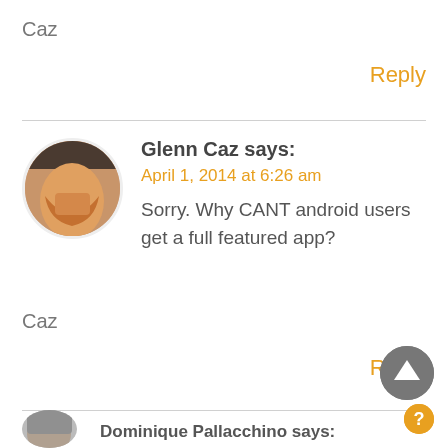Caz
Reply
Glenn Caz says:
April 1, 2014 at 6:26 am
Sorry. Why CANT android users get a full featured app?
Caz
Reply
Dominique Pallacchino says: